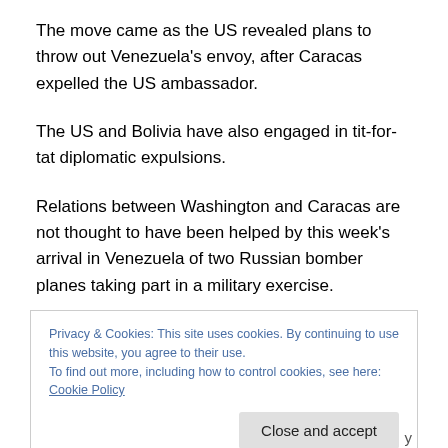The move came as the US revealed plans to throw out Venezuela's envoy, after Caracas expelled the US ambassador.
The US and Bolivia have also engaged in tit-for-tat diplomatic expulsions.
Relations between Washington and Caracas are not thought to have been helped by this week's arrival in Venezuela of two Russian bomber planes taking part in a military exercise.
Privacy & Cookies: This site uses cookies. By continuing to use this website, you agree to their use.
To find out more, including how to control cookies, see here: Cookie Policy
Close and accept